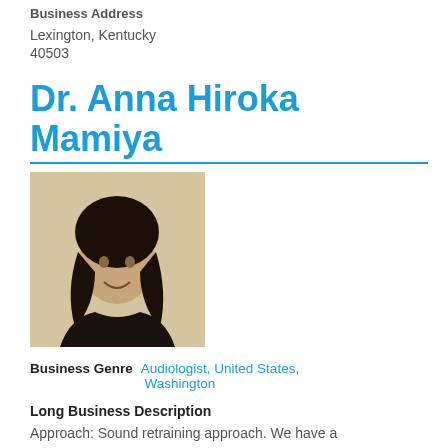Business Address
Lexington, Kentucky
40503
Dr. Anna Hiroka Mamiya
[Figure (photo): Portrait photo of Dr. Anna Hiroka Mamiya, a woman with dark hair, smiling, wearing a dark top, against a light beige background.]
Business Genre   Audiologist, United States, Washington
Long Business Description
Approach: Sound retraining approach. We have a group of patients who do not mind hearing their